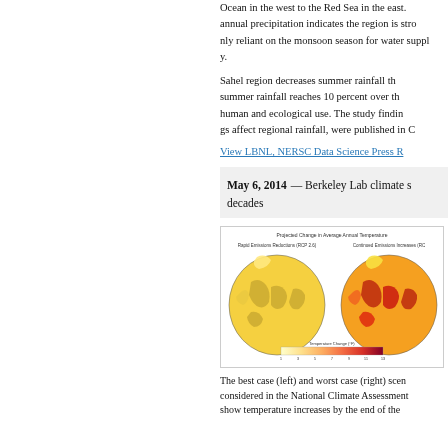Ocean in the west to the Red Sea in the east. annual precipitation indicates the region is strongly reliant on the monsoon season for water supply.
Sahel region decreases summer rainfall through summer rainfall reaches 10 percent over the human and ecological use. The study findings on affect regional rainfall, were published in C
View LBNL, NERSC Data Science Press R
May 6, 2014 — Berkeley Lab climate s decades
[Figure (map): World maps showing Projected Change in Average Annual Temperature. Left map: Rapid Emissions Reductions (RCP 2.6). Right map: Continued Emissions Increases (RCP). Color scale shows Temperature Change in degrees F from 1 to 15.]
The best case (left) and worst case (right) scenarios considered in the National Climate Assessment show temperature increases by the end of the